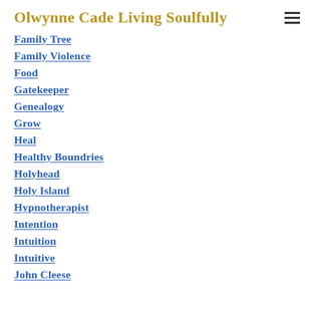Olwynne Cade Living Soulfully
Family Tree
Family Violence
Food
Gatekeeper
Genealogy
Grow
Heal
Healthy Boundries
Holyhead
Holy Island
Hypnotherapist
Intention
Intuition
Intuitive
John Cleese